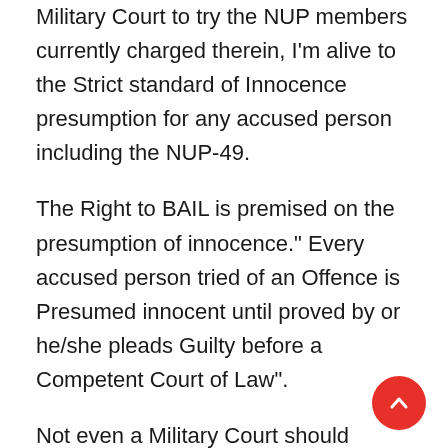Military Court to try the NUP members currently charged therein, I'm alive to the Strict standard of Innocence presumption for any accused person including the NUP-49.
The Right to BAIL is premised on the presumption of innocence." Every accused person tried of an Offence is Presumed innocent until proved by or he/she pleads Guilty before a Competent Court of Law".
Not even a Military Court should deviate from strict legal standard however enticing the charge sheet or indictment may look. GRANTING BAIL and Courts Discretion in exercising so resonate with